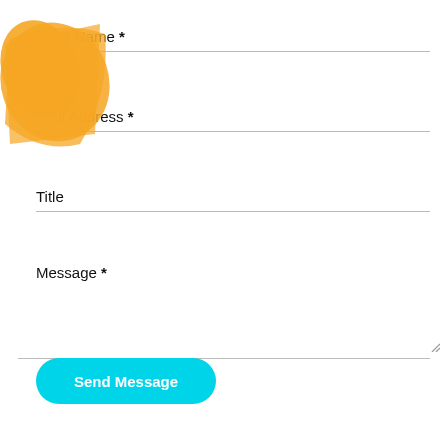Your Name *
Email Address *
Title
Message *
[Figure (illustration): Orange hand/pointer annotation drawn over the top-left of the form, partially obscuring the 'Your Name' and 'Email Address' labels]
Send Message